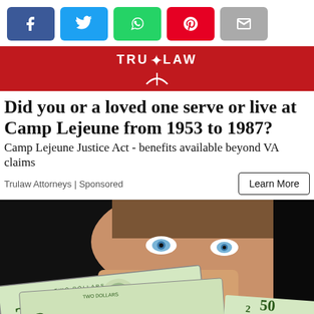[Figure (other): Social share buttons: Facebook (blue), Twitter (cyan), WhatsApp (green), Pinterest (red), Email (gray)]
[Figure (logo): TruLaw logo on red banner background with star icon]
Did you or a loved one serve or live at Camp Lejeune from 1953 to 1987?
Camp Lejeune Justice Act - benefits available beyond VA claims
Trulaw Attorneys | Sponsored
[Figure (photo): Man holding up two US $2 bills (serial number A 04659730 A) in front of his face, with partial view of a $50 bill. Man has blue eyes.]